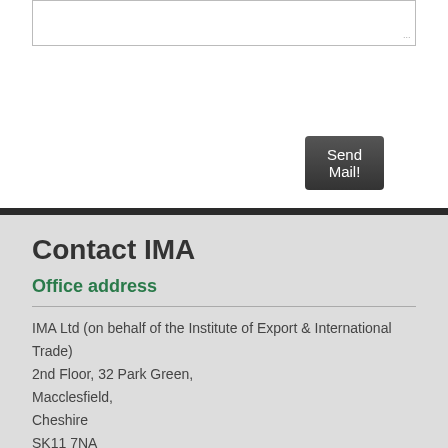[Figure (screenshot): Text area input box at top of page]
[Figure (screenshot): Send Mail! button, dark grey rounded rectangle]
Contact IMA
Office address
IMA Ltd (on behalf of the Institute of Export & International Trade)
2nd Floor, 32 Park Green,
Macclesfield,
Cheshire
SK11 7NA
United Kingdom
Email
info@ima.uk.com